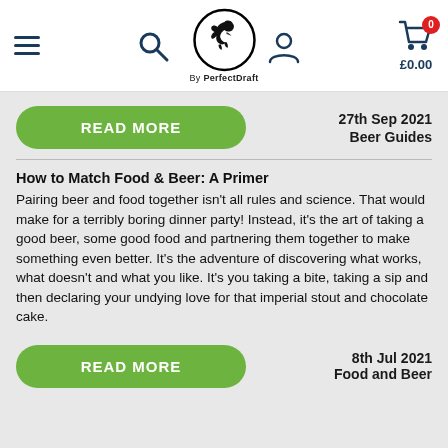[Figure (screenshot): Navigation bar with hamburger menu, search icon, PerfectDraft eagle logo in circle with 'By PerfectDraft' text, user account icon, and shopping cart icon with red badge showing 0 and price £0.00]
READ MORE
27th Sep 2021
Beer Guides
How to Match Food & Beer: A Primer
Pairing beer and food together isn't all rules and science. That would make for a terribly boring dinner party! Instead, it's the art of taking a good beer, some good food and partnering them together to make something even better. It's the adventure of discovering what works, what doesn't and what you like. It's you taking a bite, taking a sip and then declaring your undying love for that imperial stout and chocolate cake.
READ MORE
8th Jul 2021
Food and Beer